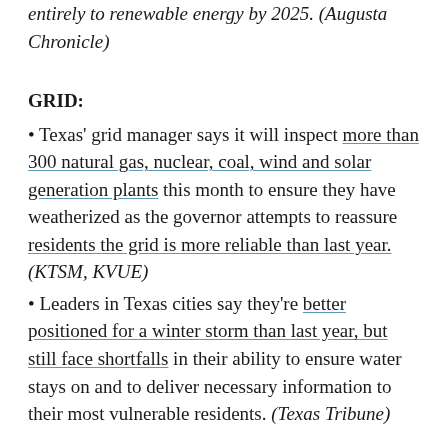entirely to renewable energy by 2025. (Augusta Chronicle)
GRID:
• Texas' grid manager says it will inspect more than 300 natural gas, nuclear, coal, wind and solar generation plants this month to ensure they have weatherized as the governor attempts to reassure residents the grid is more reliable than last year. (KTSM, KVUE)
• Leaders in Texas cities say they're better positioned for a winter storm than last year, but still face shortfalls in their ability to ensure water stays on and to deliver necessary information to their most vulnerable residents. (Texas Tribune)